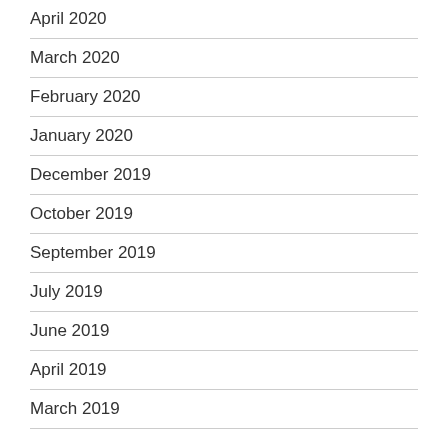April 2020
March 2020
February 2020
January 2020
December 2019
October 2019
September 2019
July 2019
June 2019
April 2019
March 2019